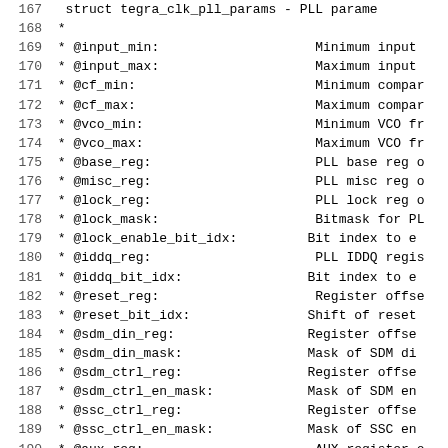Code documentation block showing struct tegra_clk_pll_params PLL parameter fields, lines 167-197
167: struct tegra_clk_pll_params - PLL parame...
168: *
169: * @input_min:                 Minimum input...
170: * @input_max:                 Maximum input...
171: * @cf_min:                    Minimum compar...
172: * @cf_max:                    Maximum compar...
173: * @vco_min:                   Minimum VCO fr...
174: * @vco_max:                   Maximum VCO fr...
175: * @base_reg:                  PLL base reg o...
176: * @misc_reg:                  PLL misc reg o...
177: * @lock_reg:                  PLL lock reg o...
178: * @lock_mask:                 Bitmask for PL...
179: * @lock_enable_bit_idx:       Bit index to e...
180: * @iddq_reg:                  PLL IDDQ regis...
181: * @iddq_bit_idx:              Bit index to e...
182: * @reset_reg:                 Register offse...
183: * @reset_bit_idx:             Shift of reset...
184: * @sdm_din_reg:               Register offse...
185: * @sdm_din_mask:              Mask of SDM di...
186: * @sdm_ctrl_reg:              Register offse...
187: * @sdm_ctrl_en_mask:          Mask of SDM en...
188: * @ssc_ctrl_reg:              Register offse...
189: * @ssc_ctrl_en_mask:          Mask of SSC en...
190: * @aux_reg:                   AUX register o...
191: * @dyn_ramp_reg:              Dynamic ramp o...
192: * @ext_misc_reg:              Miscellaneous ...
193: * @pmc_divnm_reg:             n, m divider P...
194: * @pmc_divp_reg:              p divider PMC...
195: * @flags:                     PLL flags
196: * @stepa_shift:               Dynamic ramp s...
197: * @stepb_shift:               Dynamic ramp...